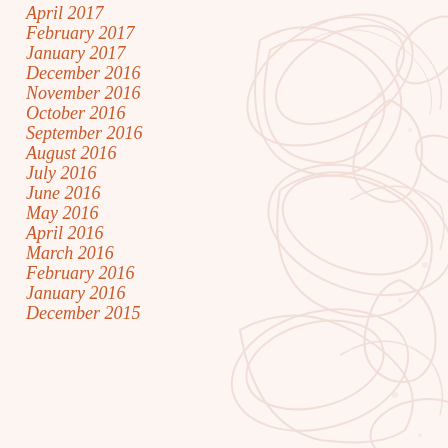April 2017
February 2017
January 2017
December 2016
November 2016
October 2016
September 2016
August 2016
July 2016
June 2016
May 2016
April 2016
March 2016
February 2016
January 2016
December 2015